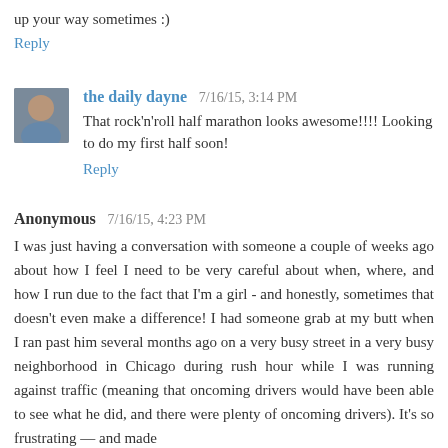up your way sometimes :)
Reply
the daily dayne  7/16/15, 3:14 PM
That rock'n'roll half marathon looks awesome!!!! Looking to do my first half soon!
Reply
Anonymous  7/16/15, 4:23 PM
I was just having a conversation with someone a couple of weeks ago about how I feel I need to be very careful about when, where, and how I run due to the fact that I'm a girl - and honestly, sometimes that doesn't even make a difference! I had someone grab at my butt when I ran past him several months ago on a very busy street in a very busy neighborhood in Chicago during rush hour while I was running against traffic (meaning that oncoming drivers would have been able to see what he did, and there were plenty of oncoming drivers). It's so frustrating — and made